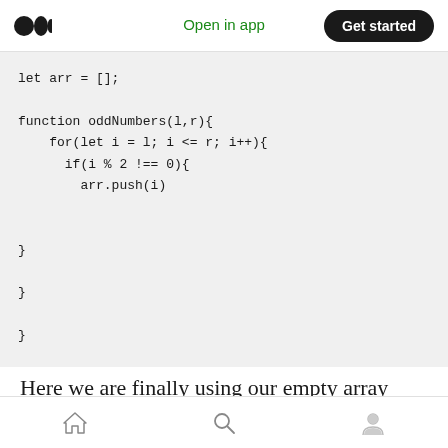Open in app | Get started
[Figure (screenshot): Code block showing JavaScript function oddNumbers with a for loop checking if i % 2 !== 0 and pushing to arr array]
Here we are finally using our empty array with the push method. If the determined number